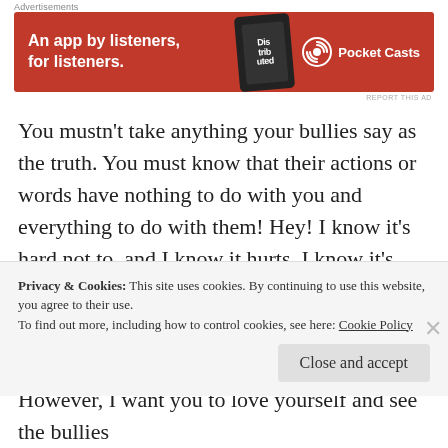Advertisements
[Figure (illustration): Pocket Casts advertisement banner in red. Text: 'An app by listeners, for listeners.' with phone image and Pocket Casts logo.]
You mustn't take anything your bullies say as the truth. You must know that their actions or words have nothing to do with you and everything to do with them! Hey! I know it's hard not to, and I know it hurts. I know it's hard not to blame yourself when it seems that everyone, from every direction, is bombarding you with negativity.
However, I want you to love yourself and see the bullies
Privacy & Cookies: This site uses cookies. By continuing to use this website, you agree to their use.
To find out more, including how to control cookies, see here: Cookie Policy
Close and accept